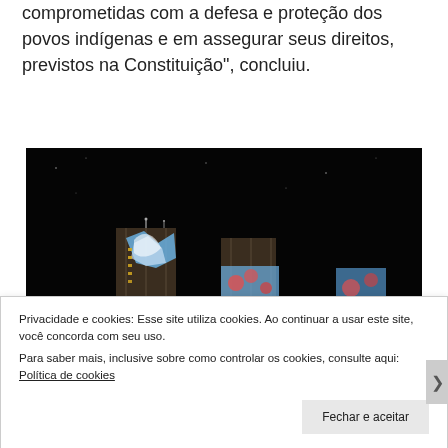comprometidas com a defesa e proteção dos povos indígenas e em assegurar seus direitos, previstos na Constituição", concluiu.
[Figure (photo): Nighttime photo of a building with colorful projections of indigenous art/imagery displayed on its facade. ISA logo visible in top-left corner.]
Privacidade e cookies: Esse site utiliza cookies. Ao continuar a usar este site, você concorda com seu uso.
Para saber mais, inclusive sobre como controlar os cookies, consulte aqui:
Política de cookies